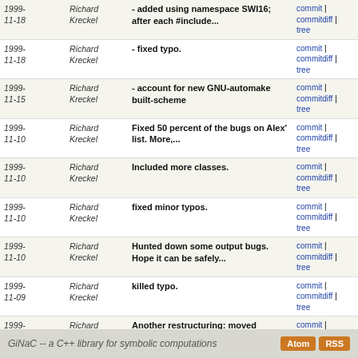| Date | Author | Message | Links |
| --- | --- | --- | --- |
| 1999-11-18 | Richard Kreckel | - added using namespace SWI16; after each #include... | commit | commitdiff | tree |
| 1999-11-18 | Richard Kreckel | - fixed typo. | commit | commitdiff | tree |
| 1999-11-15 | Richard Kreckel | - account for new GNU-automake built-scheme | commit | commitdiff | tree |
| 1999-11-10 | Richard Kreckel | Fixed 50 percent of the bugs on Alex' list. More,... | commit | commitdiff | tree |
| 1999-11-10 | Richard Kreckel | Included more classes. | commit | commitdiff | tree |
| 1999-11-10 | Richard Kreckel | fixed minor typos. | commit | commitdiff | tree |
| 1999-11-10 | Richard Kreckel | Hunted down some output bugs. Hope it can be safely... | commit | commitdiff | tree |
| 1999-11-09 | Richard Kreckel | killed typo. | commit | commitdiff | tree |
| 1999-11-09 | Richard Kreckel | Another restructuring: moved include/*.h -> include... | commit | commitdiff | tree |
| 1999-11-09 | Richard Kreckel | Target install should work now more or less. | commit | commitdiff | tree |
| 1999-11-08 | Richard Kreckel | Initial revision | commit | commitdiff | tree |
| 1999-11-08 | Richard Kreckel | initial checkin | commit | commitdiff | tree |
GiNaC -- a C++ library for symbolic computations